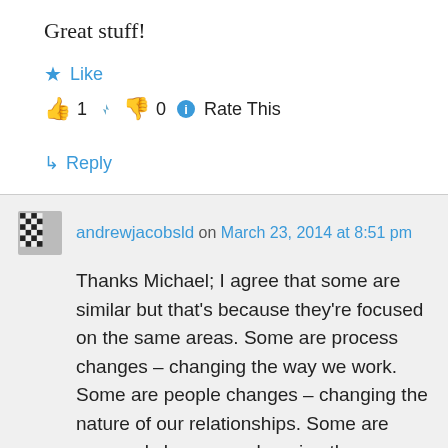Great stuff!
★ Like
👍 1 👎 0 ℹ Rate This
↪ Reply
andrewjacobsld on March 23, 2014 at 8:51 pm
Thanks Michael; I agree that some are similar but that's because they're focused on the same areas. Some are process changes – changing the way we work. Some are people changes – changing the nature of our relationships. Some are personal changes – changing the way we think and approach what we do.